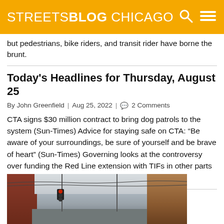STREETSBLOG CHICAGO
but pedestrians, bike riders, and transit rider have borne the brunt.
Today's Headlines for Thursday, August 25
By John Greenfield | Aug 25, 2022 | 2 Comments
CTA signs $30 million contract to bring dog patrols to the system (Sun-Times) Advice for staying safe on CTA: “Be aware of your surroundings, be sure of yourself and be brave of heart” (Sun-Times) Governing looks at the controversy over funding the Red Line extension with TIFs in other parts of town Block Club looks [...]
[Figure (photo): Street-level photo of an urban Chicago street scene with buildings on both sides, overhead wires, and a traffic signal visible.]